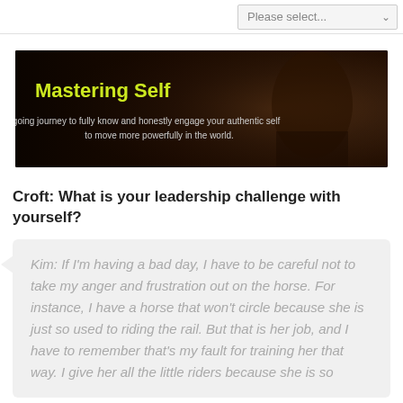Please select...
[Figure (illustration): Dark banner image with title 'Mastering Self' in yellow-green bold text and subtitle 'The ongoing journey to fully know and honestly engage your authentic self to move more powerfully in the world.' on a dark background with a person image on the right.]
Croft: What is your leadership challenge with yourself?
Kim: If I'm having a bad day, I have to be careful not to take my anger and frustration out on the horse. For instance, I have a horse that won't circle because she is just so used to riding the rail. But that is her job, and I have to remember that's my fault for training her that way. I give her all the little riders because she is so